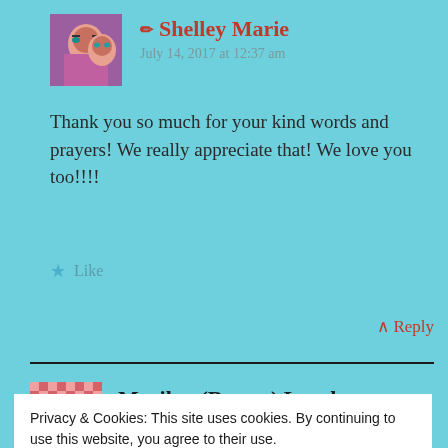[Figure (photo): Avatar photo of two young girls wearing sunglasses]
Shelley Marie
July 14, 2017 at 12:37 am
Thank you so much for your kind words and prayers! We really appreciate that! We love you too!!!!
★ Like
↑ Reply
[Figure (photo): Avatar with pink/red decorative pattern for Marilyn (Brown) Lynch]
Marilyn (Brown) Lynch
Privacy & Cookies: This site uses cookies. By continuing to use this website, you agree to their use.
To find out more, including how to control cookies, see here: Cookie Policy
Close and accept